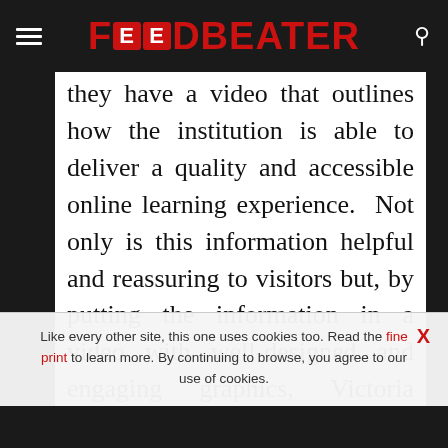FOODBEATER
they have a video that outlines how the institution is able to deliver a quality and accessible online learning experience. Not only is this information helpful and reassuring to visitors but, by putting the information in a video with well-designed and engaging graphics, Victoria University Online is able to make the policies sound a lot more
Like every other site, this one uses cookies too. Read the fine print to learn more. By continuing to browse, you agree to our use of cookies.